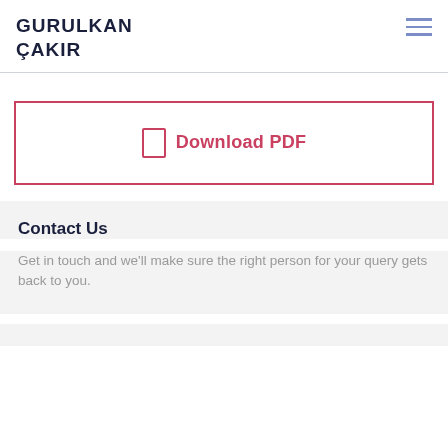GURULKAN ÇAKIR
Download PDF
Contact Us
Get in touch and we'll make sure the right person for your query gets back to you.